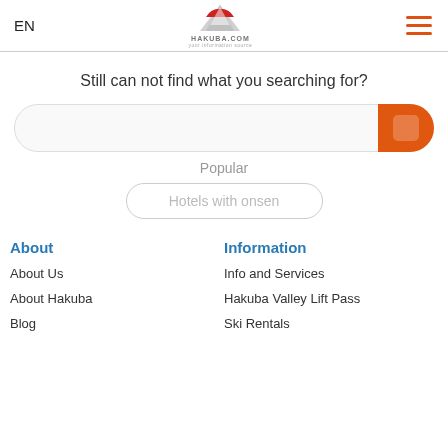EN | HAKUBA.COM
Still can not find what you searching for?
[Figure (screenshot): Search bar with orange search button on the right]
Popular
Hotels with onsen
About
Information
About Us
Info and Services
About Hakuba
Hakuba Valley Lift Pass
Blog
Ski Rentals